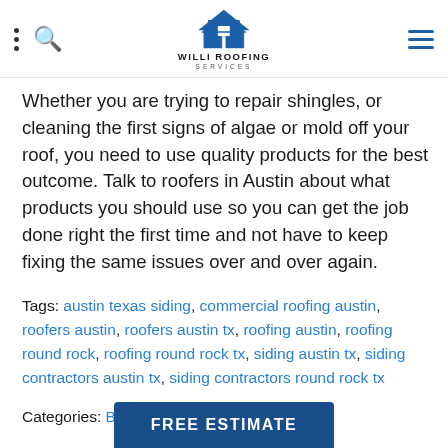Willi Roofing Services — navigation header with logo
Whether you are trying to repair shingles, or cleaning the first signs of algae or mold off your roof, you need to use quality products for the best outcome. Talk to roofers in Austin about what products you should use so you can get the job done right the first time and not have to keep fixing the same issues over and over again.
Tags: austin texas siding, commercial roofing austin, roofers austin, roofers austin tx, roofing austin, roofing round rock, roofing round rock tx, siding austin tx, siding contractors austin tx, siding contractors round rock tx
Categories: Blog
FREE ESTIMATE